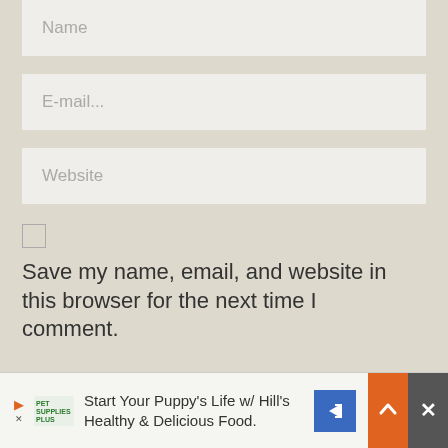[Figure (screenshot): Web form input field with placeholder text 'Name']
[Figure (screenshot): Web form input field with placeholder text 'E-mail...']
[Figure (screenshot): Web form input field with placeholder text 'Website']
Save my name, email, and website in this browser for the next time I comment.
SUBMIT
Start Your Puppy's Life w/ Hill's Healthy & Delicious Food.